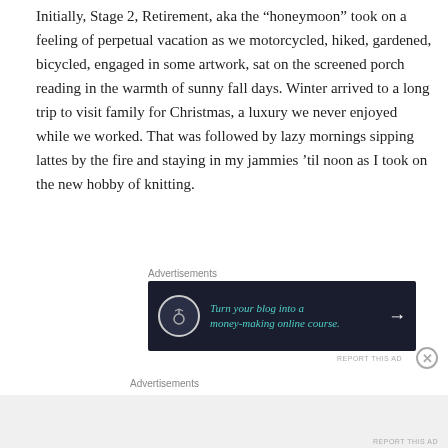Initially, Stage 2, Retirement, aka the “honeymoon” took on a feeling of perpetual vacation as we motorcycled, hiked, gardened, bicycled, engaged in some artwork, sat on the screened porch reading in the warmth of sunny fall days. Winter arrived to a long trip to visit family for Christmas, a luxury we never enjoyed while we worked. That was followed by lazy mornings sipping lattes by the fire and staying in my jammies ’til noon as I took on the new hobby of knitting.
Advertisements
[Figure (other): Advertisement banner with dark background: tree/bonsai icon in circle on left, teal italic text reading 'Turn your blog into a money-making online course.' with arrow on right]
REPORT THIS AD
Advertisements
REPORT THIS AD